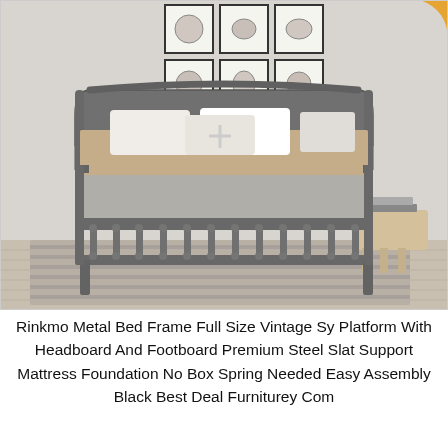[Figure (photo): A gray metal bed frame with headboard and footboard, vintage style, with decorative spindles on the footboard. The bed has beige/tan bedding with white accent pillows and a gray throw blanket. The room has light gray walls with a 2x3 grid of framed black and white sports-themed artwork. A small wooden side table with books is on the right. The floor has light wood planks with a striped area rug.]
Rinkmo Metal Bed Frame Full Size Vintage Sy Platform With Headboard And Footboard Premium Steel Slat Support Mattress Foundation No Box Spring Needed Easy Assembly Black Best Deal Furniturey Com